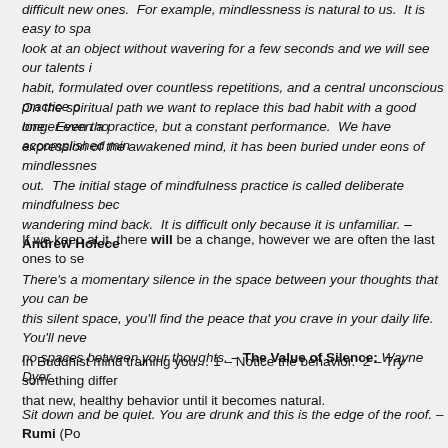difficult new ones.  For example, mindlessness is natural to us.  It is easy to spa... look at an object without wavering for a few seconds and we will see our talents i... habit, formulated over countless repetitions, and a central unconscious practice o... longer even a practice, but a constant performance.  We have accomplished min...
On the spiritual path we want to replace this bad habit with a good one.  Even tho... expression of the awakened mind, it has been buried under eons of mindlessnes... out.  The initial stage of mindfulness practice is called deliberate mindfulness bec... wandering mind back.  It is difficult only because it is unfamiliar. – Andrew Holece...
If we keep at it, there will be a change, however we are often the last ones to se...
There's a momentary silence in the space between your thoughts that you can be... this silent space, you'll find the peace that you crave in your daily life. You'll neve... no spaces between your thoughts. – The Value of Silence: Wayne Dyer
In Buddhist mind training you… 1 – Notice the behavior.  2 – Try something differ... that new, healthy behavior until it becomes natural.
Sit down and be quiet. You are drunk and this is the edge of the roof. – Rumi (Po... (Here Rumi is not referring to alcohol but rather to our egos, or lack of vision.)